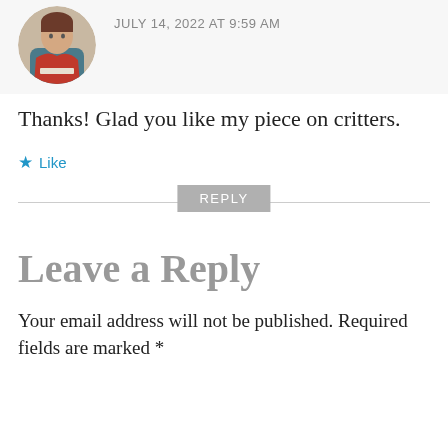[Figure (photo): Circular avatar photo of a person wearing a red scarf and blue top, seated at a table.]
JULY 14, 2022 AT 9:59 AM
Thanks! Glad you like my piece on critters.
★ Like
REPLY
Leave a Reply
Your email address will not be published. Required fields are marked *